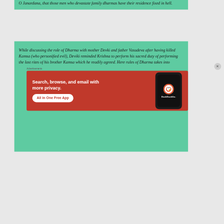O Janardana, that those men who devastate family dharmas have their residence fixed in hell.
While discussing the role of Dharma with mother Devki and father Vasudeva after having killed Kamsa (who personified evil), Deviki reminded Krishna to perform his sacred duty of performing the last rites of his brother Kamsa which he readily agreed. Here rules of Dharma takes into
Advertisements
[Figure (screenshot): DuckDuckGo advertisement banner: orange/red background with white text 'Search, browse, and email with more privacy.' and 'All in One Free App' button, with a phone mockup showing the DuckDuckGo logo and wordmark.]